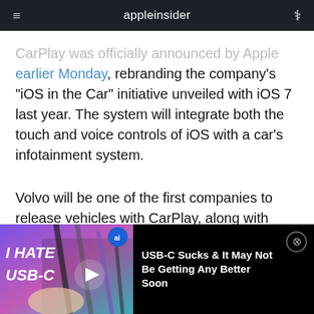appleinsider
CarPlay was officially announced by Apple earlier Monday, rebranding the company's "iOS in the Car" initiative unveiled with iOS 7 last year. The system will integrate both the touch and voice controls of iOS with a car's infotainment system.
Volvo will be one of the first companies to release vehicles with CarPlay, along with Mercedes-Benz and Ferrari. Other announced
[Figure (screenshot): Video banner ad at bottom of screen showing 'I HATE USB-C' video thumbnail with cables, play button, ai badge, and title 'USB-C Sucks & It May Not Be Getting Any Better Soon' with close button]